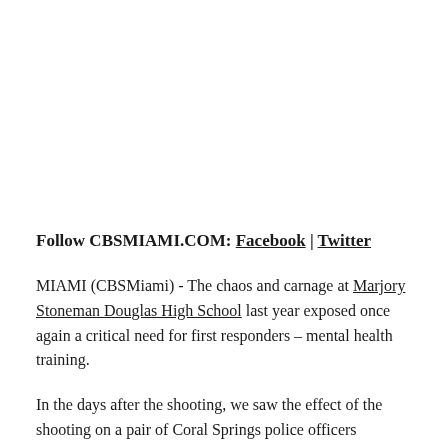Follow CBSMIAMI.COM: Facebook | Twitter
MIAMI (CBSMiami) - The chaos and carnage at Marjory Stoneman Douglas High School last year exposed once again a critical need for first responders – mental health training.
In the days after the shooting, we saw the effect of the shooting on a pair of Coral Springs police officers